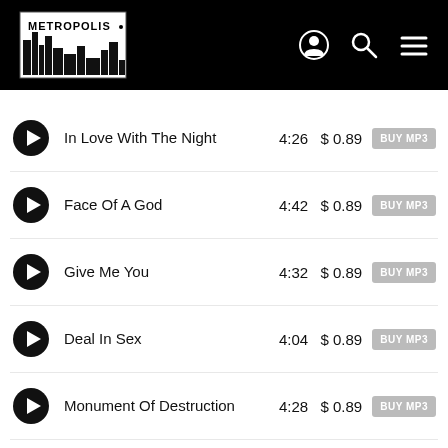Metropolis - music store header
In Love With The Night | 4:26 | $ 0.89 | BUY MP3
Face Of A God | 4:42 | $ 0.89 | BUY MP3
Give Me You | 4:32 | $ 0.89 | BUY MP3
Deal In Sex | 4:04 | $ 0.89 | BUY MP3
Monument Of Destruction | 4:28 | $ 0.89 | BUY MP3
Reaching Out | 3:25 | $ 0.89 | BUY MP3
Serenade (Splitter) | 2:21 | $ 0.89 | BUY MP3